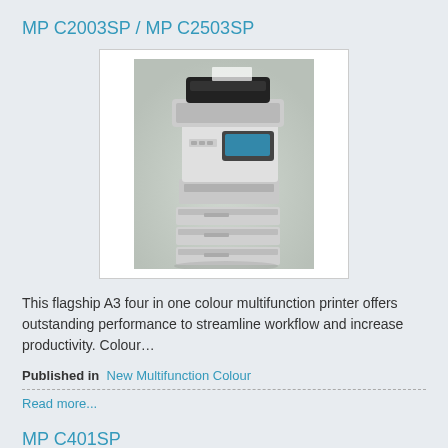MP C2003SP / MP C2503SP
[Figure (photo): Ricoh MP C2003SP / MP C2503SP colour multifunction printer, a tall office device with paper trays at the bottom, a control panel with touchscreen in the middle, and an automatic document feeder on top.]
This flagship A3 four in one colour multifunction printer offers outstanding performance to streamline workflow and increase productivity. Colour…
Published in  New Multifunction Colour
Read more...
MP C401SP